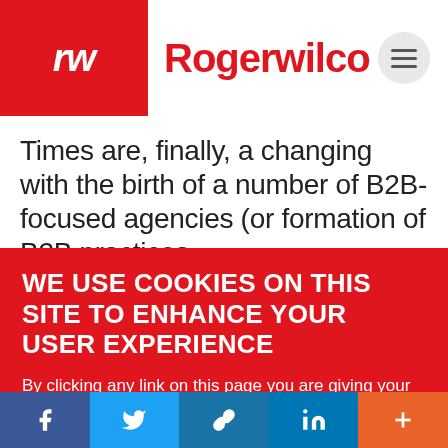[Figure (logo): Rogerwilco logo with red background block showing 'rw' in white italic and 'Rogerwilco' in red text]
Times are, finally, a changing with the birth of a number of B2B-focused agencies (or formation of B2B practices
WE USE COOKIES ON THIS SITE TO ENHANCE YOUR USER EXPERIENCE
By clicking any link on this page you are giving your consent for us to set cookies, More info.
PREFERENCES → Yes, I Accept
[Figure (screenshot): Social sharing bar with Facebook, Twitter, link share, LinkedIn, and more (+) buttons]